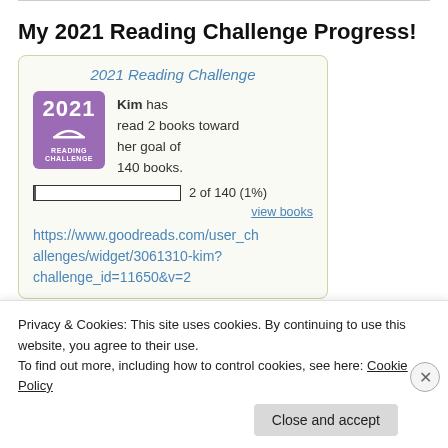My 2021 Reading Challenge Progress!
[Figure (infographic): Goodreads 2021 Reading Challenge widget showing Kim has read 2 books toward her goal of 140 books. Progress bar shows 2 of 140 (1%). A purple badge with '2021 READING CHALLENGE' is shown. Link to Goodreads widget is displayed below.]
https://www.goodreads.com/user_challenges/widget/3061310-kim?challenge_id=11650&v=2
Privacy & Cookies: This site uses cookies. By continuing to use this website, you agree to their use.
To find out more, including how to control cookies, see here: Cookie Policy